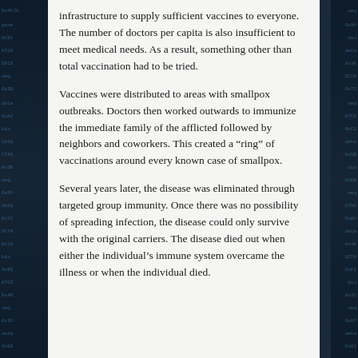infrastructure to supply sufficient vaccines to everyone. The number of doctors per capita is also insufficient to meet medical needs. As a result, something other than total vaccination had to be tried.
Vaccines were distributed to areas with smallpox outbreaks. Doctors then worked outwards to immunize the immediate family of the afflicted followed by neighbors and coworkers. This created a “ring” of vaccinations around every known case of smallpox.
Several years later, the disease was eliminated through targeted group immunity. Once there was no possibility of spreading infection, the disease could only survive with the original carriers. The disease died out when either the individual’s immune system overcame the illness or when the individual died.